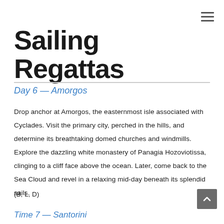Sailing Regattas
Day 6 — Amorgos
Drop anchor at Amorgos, the easternmost isle associated with Cyclades. Visit the primary city, perched in the hills, and determine its breathtaking domed churches and windmills. Explore the dazzling white monastery of Panagia Hozoviotissa, clinging to a cliff face above the ocean. Later, come back to the Sea Cloud and revel in a relaxing mid-day beneath its splendid sails.
(B, L, D)
Time 7 — Santorini